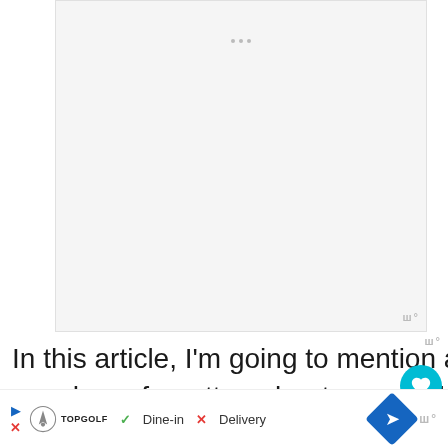[Figure (other): Advertisement placeholder area with light gray background and three small dots at top center, with a watermark-style logo in bottom right corner]
In this article, I'm going to mention a few reasons why your boyfriend may have forgotten about your birthday, and later on, I'll explain how to react if you've ever fo[und yourself in one of these situations].
[Figure (other): Bottom advertisement banner for Topgolf showing Dine-in and Delivery options with navigation arrow button]